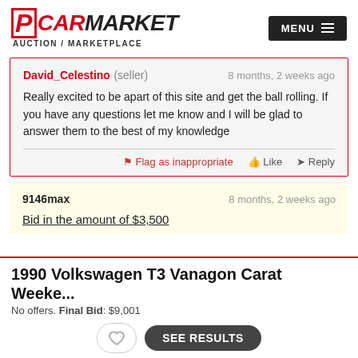PCARMARKET AUCTION / MARKETPLACE
David_Celestino (seller)   8 months, 2 weeks ago

Really excited to be apart of this site and get the ball rolling. If you have any questions let me know and I will be glad to answer them to the best of my knowledge

Flag as inappropriate   Like   Reply
9146max   8 months, 2 weeks ago

Bid in the amount of $3,500
1990 Volkswagen T3 Vanagon Carat Weeke...
No offers. Final Bid: $9,001
SEE RESULTS